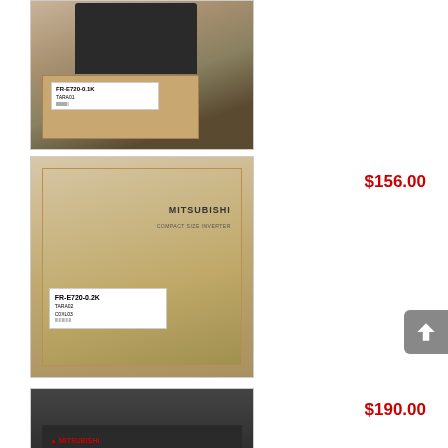[Figure (photo): Mitsubishi FR-E720-0.1K compact size inverter product in box, model label TARA01, photo showing dark inverter unit on cardboard box]
[Figure (photo): Mitsubishi FR-E720-0.2K compact size inverter product in cardboard box, label shows TARA02, C0XL03, MITSUBISHI COMPACT SIZE INVERTER printed on box]
$156.00
[Figure (photo): Mitsubishi compact size inverter unit, dark grey/black color, front view showing Mitsubishi branding and display panel]
$190.00